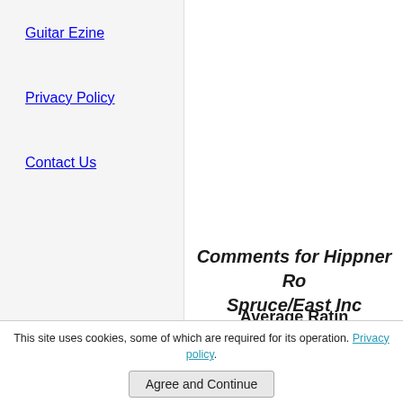Guitar Ezine
Privacy Policy
Contact Us
Comments for Hippner Ro... Spruce/East Inc...
Average Ratin...
Click here to add yo...
This site uses cookies, some of which are required for its operation. Privacy policy.